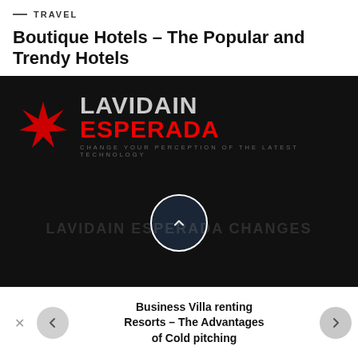— TRAVEL
Boutique Hotels – The Popular and Trendy Hotels
[Figure (logo): Lavidain Esperada logo on dark background with red star icon and tagline 'CHANGE YOUR PERCEPTION OF THE LATEST TECHNOLOGY'. A dark circle button with up chevron arrow is centered below the logo.]
Business Villa renting Resorts – The Advantages of Cold pitching